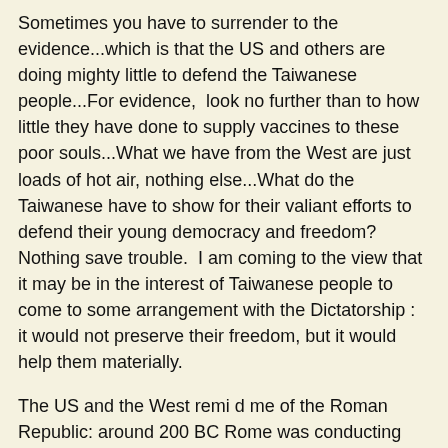Sometimes you have to surrender to the evidence...which is that the US and others are doing mighty little to defend the Taiwanese people...For evidence,  look no further than to how little they have done to supply vaccines to these poor souls...What we have from the West are just loads of hot air, nothing else...What do the Taiwanese have to show for their valiant efforts to defend their young democracy and freedom? Nothing save trouble.  I am coming to the view that it may be in the interest of Taiwanese people to come to some arrangement with the Dictatorship :  it would not preserve their freedom, but it would help them materially.
The US and the West remi d me of the Roman Republic: around 200 BC Rome was conducting practically a proxy war with the Seleucid Empire, all with the pretext that it was protecting the independence of the Greek republics allied to it. Yet when the Aetolian League begged the Romans for military assistance, the reply came that "Rome will fight the Seleucids TO THE LAST DROP OF AETOLIAN BLOOD!"
...exactly what the West has done with the Kurds, the Armenians, the Afghans, Ukrainians, Belarusians...